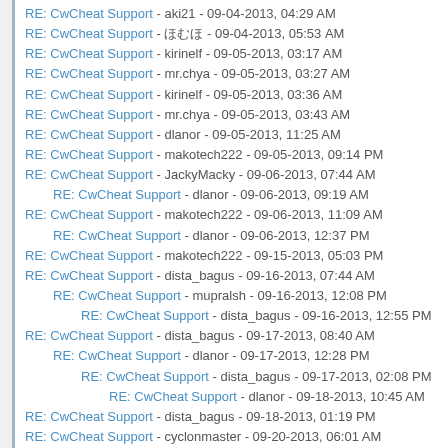RE: CwCheat Support - aki21 - 09-04-2013, 04:29 AM
RE: CwCheat Support - ほむほ - 09-04-2013, 05:53 AM
RE: CwCheat Support - kirinelf - 09-05-2013, 03:17 AM
RE: CwCheat Support - mr.chya - 09-05-2013, 03:27 AM
RE: CwCheat Support - kirinelf - 09-05-2013, 03:36 AM
RE: CwCheat Support - mr.chya - 09-05-2013, 03:43 AM
RE: CwCheat Support - dlanor - 09-05-2013, 11:25 AM
RE: CwCheat Support - makotech222 - 09-05-2013, 09:14 PM
RE: CwCheat Support - JackyMacky - 09-06-2013, 07:44 AM
RE: CwCheat Support - dlanor - 09-06-2013, 09:19 AM
RE: CwCheat Support - makotech222 - 09-06-2013, 11:09 AM
RE: CwCheat Support - dlanor - 09-06-2013, 12:37 PM
RE: CwCheat Support - makotech222 - 09-15-2013, 05:03 PM
RE: CwCheat Support - dista_bagus - 09-16-2013, 07:44 AM
RE: CwCheat Support - mupralsh - 09-16-2013, 12:08 PM
RE: CwCheat Support - dista_bagus - 09-16-2013, 12:55 PM
RE: CwCheat Support - dista_bagus - 09-17-2013, 08:40 AM
RE: CwCheat Support - dlanor - 09-17-2013, 12:28 PM
RE: CwCheat Support - dista_bagus - 09-17-2013, 02:08 PM
RE: CwCheat Support - dlanor - 09-18-2013, 10:45 AM
RE: CwCheat Support - dista_bagus - 09-18-2013, 01:19 PM
RE: CwCheat Support - cyclonmaster - 09-20-2013, 06:01 AM
RE: CwCheat Support - bhavin192 - 09-22-2013, 05:12 AM
RE: CwCheat Support - dlanor - 09-22-2013, 10:50 AM
RE: CwCheat Support - Difference - 09-20-2013, 06:46 AM